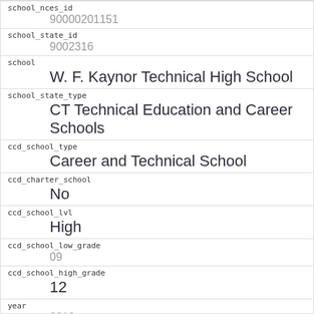| school_nces_id | 90000201151 |
| school_state_id | 9002316 |
| school | W. F. Kaynor Technical High School |
| school_state_type | CT Technical Education and Career Schools |
| ccd_school_type | Career and Technical School |
| ccd_charter_school | No |
| ccd_school_lvl | High |
| ccd_school_low_grade | 09 |
| ccd_school_high_grade | 12 |
| year | 2019 |